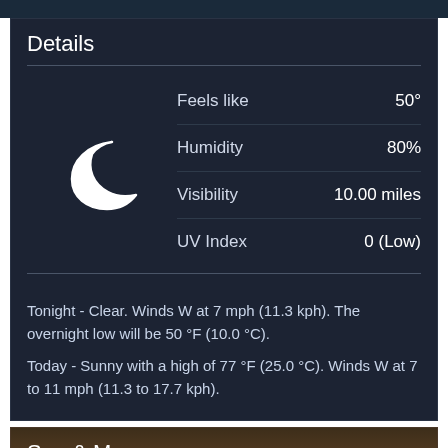Details
| Label | Value |
| --- | --- |
| Feels like | 50° |
| Humidity | 80% |
| Visibility | 10.00 miles |
| UV Index | 0 (Low) |
Tonight - Clear. Winds W at 7 mph (11.3 kph). The overnight low will be 50 °F (10.0 °C).
Today - Sunny with a high of 77 °F (25.0 °C). Winds W at 7 to 11 mph (11.3 to 17.7 kph).
Sun & Moon
New Moon